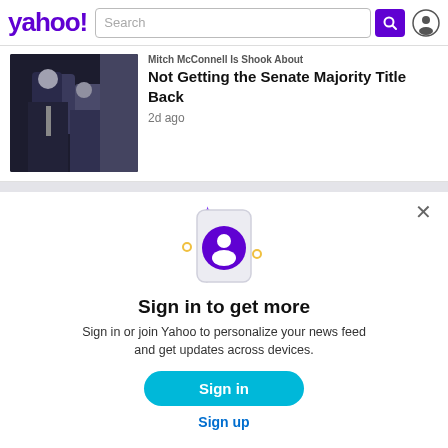[Figure (screenshot): Yahoo! logo, search bar, search button, and user icon in the header]
[Figure (photo): Photo of Mitch McConnell in a dark suit with other individuals in background]
Mitch McConnell Is Shook About Not Getting the Senate Majority Title Back
2d ago
[Figure (illustration): Phone illustration with purple user account icon, sparkle decorations, and small circles around it]
Sign in to get more
Sign in or join Yahoo to personalize your news feed and get updates across devices.
Sign in
Sign up